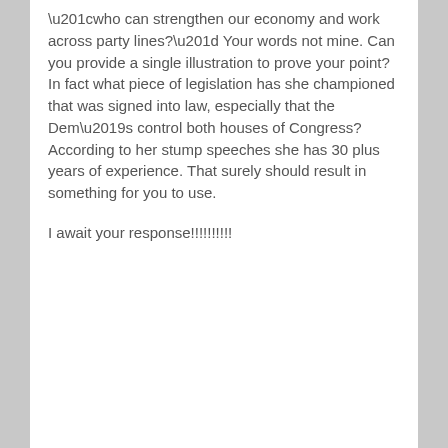“who can strengthen our economy and work across party lines?” Your words not mine. Can you provide a single illustration to prove your point? In fact what piece of legislation has she championed that was signed into law, especially that the Dem’s control both houses of Congress?
According to her stump speeches she has 30 plus years of experience. That surely should result in something for you to use.
I await your response!!!!!!!!!!